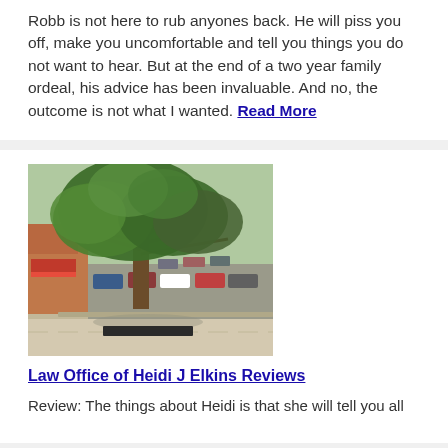Robb is not here to rub anyones back. He will piss you off, make you uncomfortable and tell you things you do not want to hear. But at the end of a two year family ordeal, his advice has been invaluable. And no, the outcome is not what I wanted. Read More
[Figure (photo): Street view photo showing a large tree in front of a parking lot with cars, a law office building exterior]
Law Office of Heidi J Elkins Reviews
Review: The things about Heidi is that she will tell you all